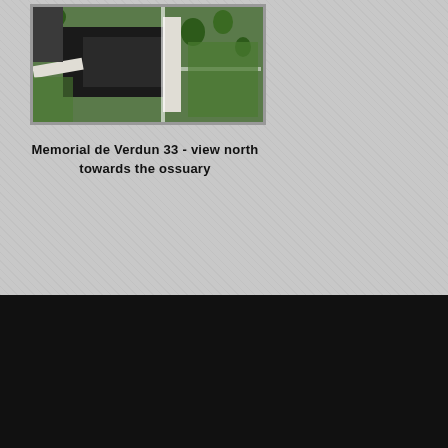[Figure (photo): Aerial/overhead view of Memorial de Verdun ossuary area showing pathways, dark surfaces, green trees and grass, viewed from above looking north.]
Memorial de Verdun 33 - view north towards the ossuary
Cookies make it easier for us to provide you with our services. With the usage of our services you permit us to use cookies.
HOME   INDEX   CONTACT.   IMPRINT.   DISCLAIMER & PRIVACY POLICY